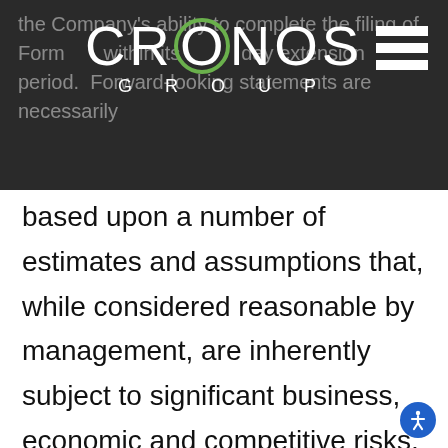[Figure (logo): Cronos Group logo — white text on dark grey background with green circle O, hamburger menu icon top right]
the Company's ability to complete the filing of Form within its day extension period. Forward-looking statements are necessarily based upon a number of estimates and assumptions that, while considered reasonable by management, are inherently subject to significant business, economic and competitive risks, uncertainties and contingencies that may cause the